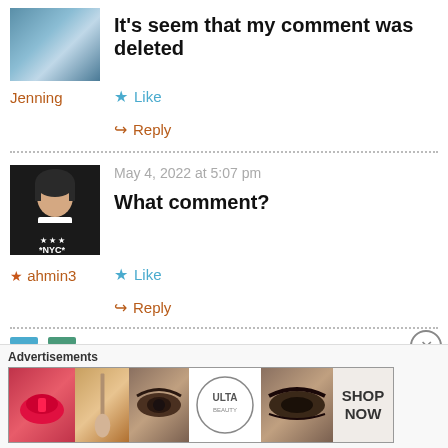[Figure (photo): User avatar for Jenning - landscape/seascape photo thumbnail]
It's seem that my comment was deleted
Jenning
★ Like
↪ Reply
[Figure (photo): User avatar for ahmin3 - young man in black NYC sweatshirt]
May 4, 2022 at 5:07 pm
What comment?
★ ahmin3
★ Like
↪ Reply
[Figure (advertisement): Ulta Beauty advertisement banner with makeup images and SHOP NOW text]
Advertisements